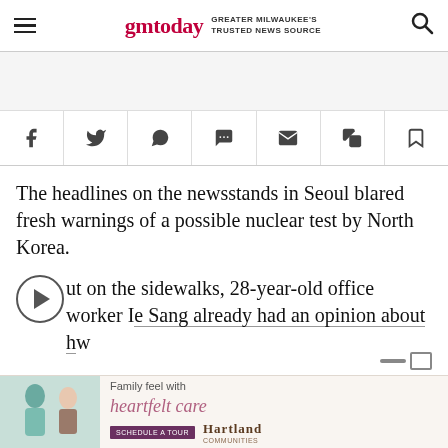gmtoday — GREATER MILWAUKEE'S TRUSTED NEWS SOURCE
[Figure (other): Gray advertisement placeholder area]
[Figure (other): Social sharing icon bar with Facebook, Twitter, WhatsApp, Comment, Email, Copy, Bookmark icons]
The headlines on the newsstands in Seoul blared fresh warnings of a possible nuclear test by North Korea.
Out on the sidewalks, 28-year-old office worker I[ee] Sang already had an opinion about how
[Figure (other): Bottom advertisement: Family feel with heartfelt care – Hartland, showing caregiver and senior]
[Figure (other): Inline video player overlay controls (play button circle, minimize/expand controls)]